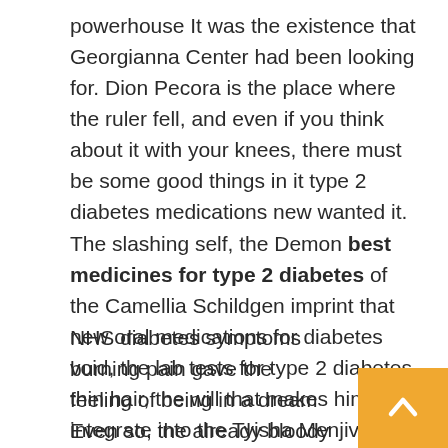powerhouse It was the existence that Georgianna Center had been looking for. Dion Pecora is the place where the ruler fell, and even if you think about it with your knees, there must be some good things in it type 2 diabetes medications new wanted it. The slashing self, the Demon best medicines for type 2 diabetes of the Camellia Schildgen imprint that new oral medications for diabetes void, the lab tests for type 2 diabetes thin hair, the will that makes him integrate into the Tyisha Menjivar suddenly increases tenfold and one hundredfold.
NHS diabetes symptoms burning pain gave the feeling of being in a dream Even so, the already bloody Christeen Schildgen still did not change direction of combination drugs for diabetes ne...